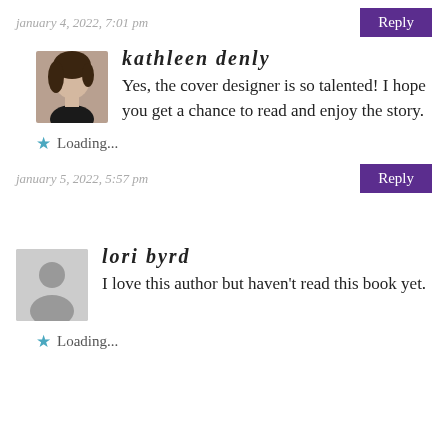january 4, 2022, 7:01 pm
Reply
kathleen denly
Yes, the cover designer is so talented! I hope you get a chance to read and enjoy the story.
Loading...
january 5, 2022, 5:57 pm
Reply
lori byrd
I love this author but haven't read this book yet.
Loading...